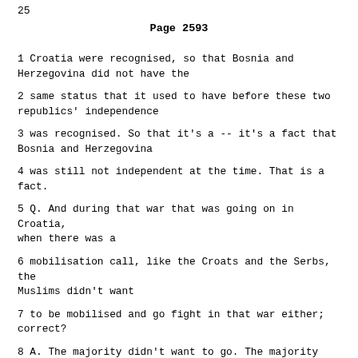25
Page 2593
1 Croatia were recognised, so that Bosnia and Herzegovina did not have the
2 same status that it used to have before these two republics' independence
3 was recognised. So that it's a -- it's a fact that Bosnia and Herzegovina
4 was still not independent at the time. That is a fact.
5 Q. And during that war that was going on in Croatia, when there was a
6 mobilisation call, like the Croats and the Serbs, the Muslims didn't want
7 to be mobilised and go fight in that war either; correct?
8 A. The majority didn't want to go. The majority didn't want to go.
9 Q. Under the laws of the Socialist Federal Republic of Yugoslavia in
10 existence at that time, what were the penalties for